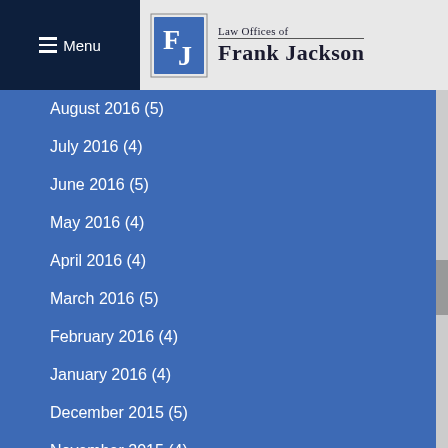Menu
[Figure (logo): Law Offices of Frank Jackson logo with stylized FJ monogram in blue diamond shape]
August 2016 (5)
July 2016 (4)
June 2016 (5)
May 2016 (4)
April 2016 (4)
March 2016 (5)
February 2016 (4)
January 2016 (4)
December 2015 (5)
November 2015 (4)
October 2015 (5)